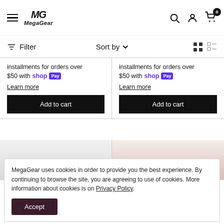MegaGear — navigation header with menu, logo, search, account, and cart icons
Filter  Sort by
installments for orders over $50 with shop Pay
Learn more
Add to cart
installments for orders over $50 with shop Pay
Learn more
Add to cart
MegaGear uses cookies in order to provide you the best experience. By continuing to browse the site, you are agreeing to use of cookies. More information about cookies is on Privacy Policy.
Accept